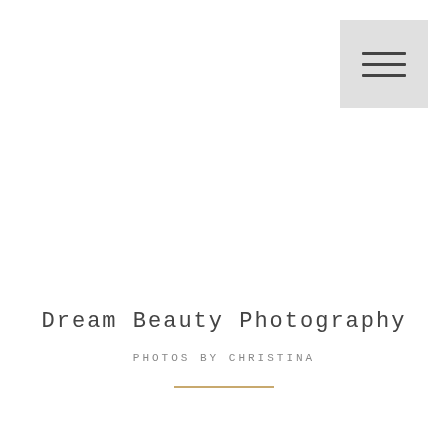[Figure (other): Hamburger menu icon button with three horizontal lines on a light gray square background, positioned in the top-right corner]
Dream Beauty Photography
Photos by Christina
[Figure (other): Thin gold/tan horizontal decorative line]